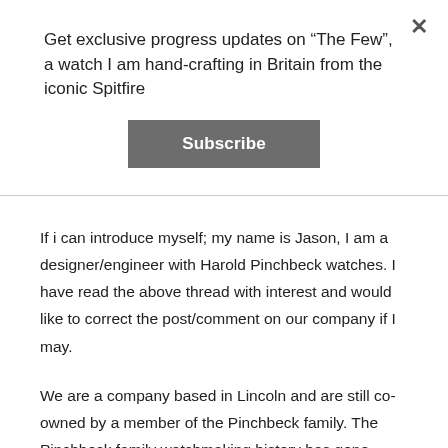Get exclusive progress updates on “The Few”, a watch I am hand-crafting in Britain from the iconic Spitfire
Subscribe
If i can introduce myself; my name is Jason, I am a designer/engineer with Harold Pinchbeck watches. I have read the above thread with interest and would like to correct the post/comment on our company if I may.
We are a company based in Lincoln and are still co-owned by a member of the Pinchbeck family. The Pinchbeck family watchmaking history has gone through a few changes and breaks over its long history, but it is a genuine one, and the company as it trades now is named after Paul Pinchbeck’s grandfather, Harold Pinchbeck, who was a watch and clock maker/repairer in the